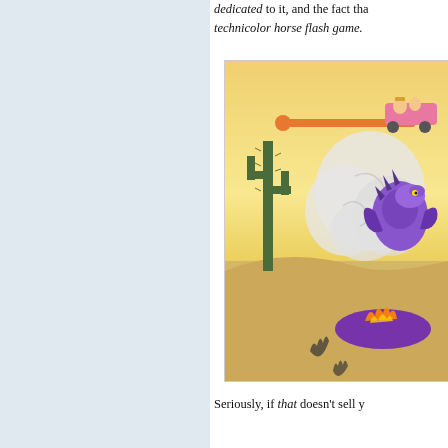dedicated to it, and the fact that technicolor horse flash game.
[Figure (screenshot): Screenshot of a colorful flash game featuring a desert scene with cactus, a purple dragon-like creature, a pink vehicle with characters, an orange ball on a bar, and a purple lava-like pool with flames on sandy ground.]
Seriously, if that doesn't sell y